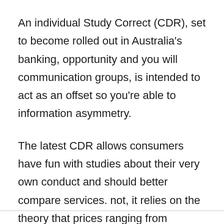An individual Study Correct (CDR), set to become rolled out in Australia's banking, opportunity and you will communication groups, is intended to act as an offset so you're able to information asymmetry.
The latest CDR allows consumers have fun with studies about their very own conduct and should better compare services. not, it relies on the theory that prices ranging from services and products are easy to know and examine.